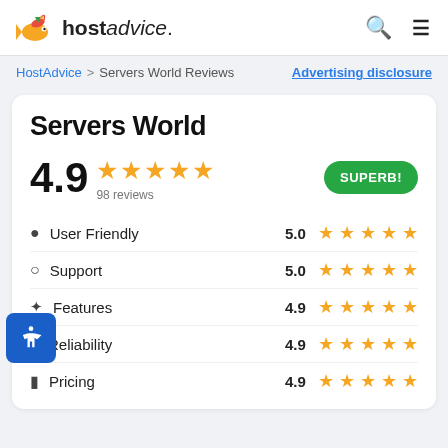hostadvice. [search] [menu]
HostAdvice > Servers World Reviews    Advertising disclosure
Servers World
4.9 ★★★★★ 98 reviews   SUPERB!
| Category | Score |
| --- | --- |
| User Friendly | 5.0 ★★★★★ |
| Support | 5.0 ★★★★★ |
| Features | 4.9 ★★★★★ |
| Reliability | 4.9 ★★★★★ |
| Pricing | 4.9 ★★★★★ |